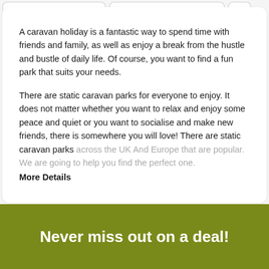A caravan holiday is a fantastic way to spend time with friends and family, as well as enjoy a break from the hustle and bustle of daily life. Of course, you want to find a fun park that suits your needs.
There are static caravan parks for everyone to enjoy. It does not matter whether you want to relax and enjoy some peace and quiet or you want to socialise and make new friends, there is somewhere you will love!  There are static caravan parks across the UK And Europe that are popular. We are going to help you find the perfect one.
More Details
Never miss out on a deal!